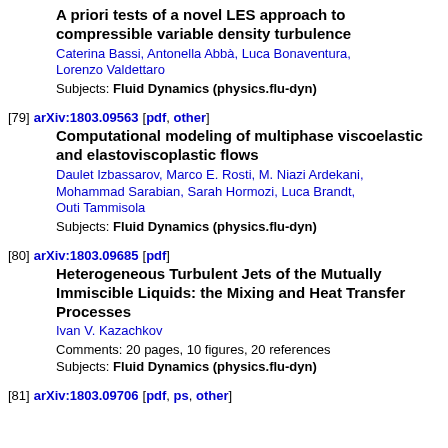A priori tests of a novel LES approach to compressible variable density turbulence
Caterina Bassi, Antonella Abbà, Luca Bonaventura, Lorenzo Valdettaro
Subjects: Fluid Dynamics (physics.flu-dyn)
[79] arXiv:1803.09563 [pdf, other]
Computational modeling of multiphase viscoelastic and elastoviscoplastic flows
Daulet Izbassarov, Marco E. Rosti, M. Niazi Ardekani, Mohammad Sarabian, Sarah Hormozi, Luca Brandt, Outi Tammisola
Subjects: Fluid Dynamics (physics.flu-dyn)
[80] arXiv:1803.09685 [pdf]
Heterogeneous Turbulent Jets of the Mutually Immiscible Liquids: the Mixing and Heat Transfer Processes
Ivan V. Kazachkov
Comments: 20 pages, 10 figures, 20 references
Subjects: Fluid Dynamics (physics.flu-dyn)
[81] arXiv:1803.09706 [pdf, ps, other]